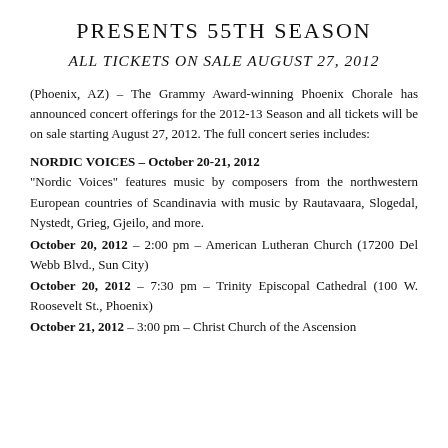PRESENTS 55TH SEASON
ALL TICKETS ON SALE AUGUST 27, 2012
(Phoenix, AZ) – The Grammy Award-winning Phoenix Chorale has announced concert offerings for the 2012-13 Season and all tickets will be on sale starting August 27, 2012. The full concert series includes:
NORDIC VOICES – October 20-21, 2012
"Nordic Voices" features music by composers from the northwestern European countries of Scandinavia with music by Rautavaara, Slogedal, Nystedt, Grieg, Gjeilo, and more.
October 20, 2012 – 2:00 pm – American Lutheran Church (17200 Del Webb Blvd., Sun City)
October 20, 2012 – 7:30 pm – Trinity Episcopal Cathedral (100 W. Roosevelt St., Phoenix)
October 21, 2012 – 3:00 pm – Christ Church of the Ascension